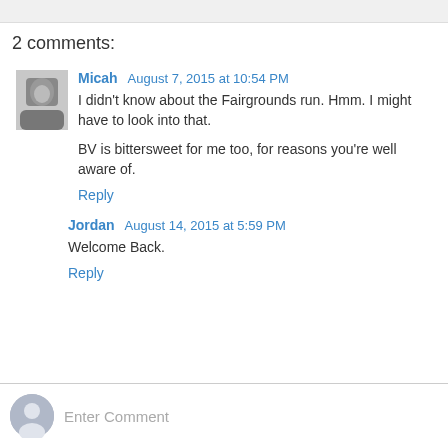2 comments:
Micah August 7, 2015 at 10:54 PM
I didn't know about the Fairgrounds run. Hmm. I might have to look into that.

BV is bittersweet for me too, for reasons you're well aware of.
Reply
Jordan August 14, 2015 at 5:59 PM
Welcome Back.
Reply
Enter Comment